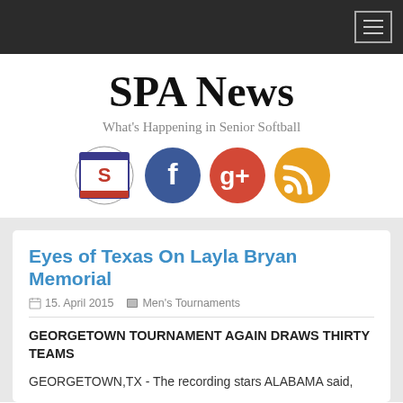SPA News - Navigation menu
SPA News
What's Happening in Senior Softball
[Figure (logo): Social and organization icons: SPA logo, Facebook, Google+, RSS feed]
Eyes of Texas On Layla Bryan Memorial
15. April 2015   Men's Tournaments
GEORGETOWN TOURNAMENT AGAIN DRAWS THIRTY TEAMS
GEORGETOWN,TX - The recording stars ALABAMA said,